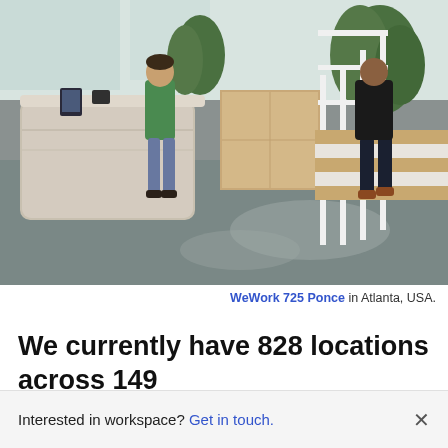[Figure (photo): Interior of a modern coworking office with a reception desk on the left where a person in green stands, another person walks by, large plants in the background, and a person descending a white spiral staircase on the right. The floor is dark polished concrete.]
WeWork 725 Ponce in Atlanta, USA.
We currently have 828 locations across 149
Interested in workspace? Get in touch.